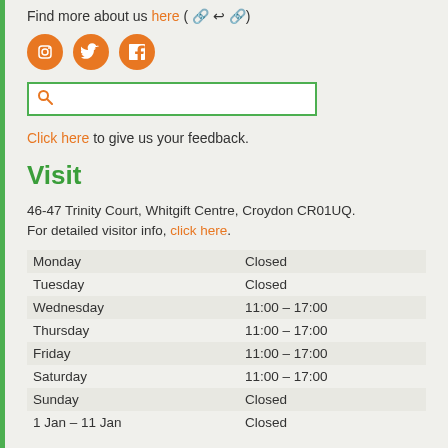Find more about us here ( 🔗 ↩ 🔗)
[Figure (infographic): Three orange circular social media icons: Instagram, Twitter, Facebook]
[Figure (screenshot): Search input box with green border and orange magnifying glass icon]
Click here to give us your feedback.
Visit
46-47 Trinity Court, Whitgift Centre, Croydon CR01UQ. For detailed visitor info, click here.
| Day | Hours |
| --- | --- |
| Monday | Closed |
| Tuesday | Closed |
| Wednesday | 11:00 – 17:00 |
| Thursday | 11:00 – 17:00 |
| Friday | 11:00 – 17:00 |
| Saturday | 11:00 – 17:00 |
| Sunday | Closed |
| 1 Jan – 11 Jan | Closed |